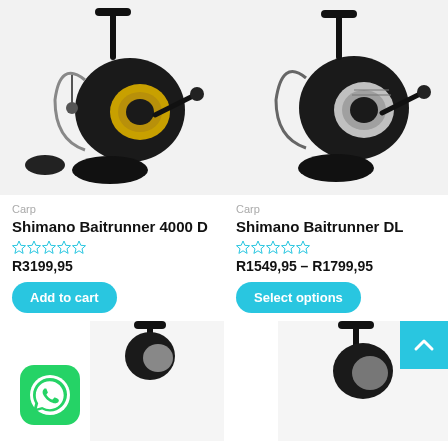[Figure (photo): Shimano Baitrunner 4000 D fishing reel, black and gold, on white background]
Carp
Shimano Baitrunner 4000 D
R3199,95
Add to cart
[Figure (photo): Shimano Baitrunner DL fishing reel, black and silver, on white background]
Carp
Shimano Baitrunner DL
R1549,95 – R1799,95
Select options
[Figure (photo): Partial view of a third fishing reel product, black, bottom left]
[Figure (photo): Partial view of a fourth fishing reel product, bottom right]